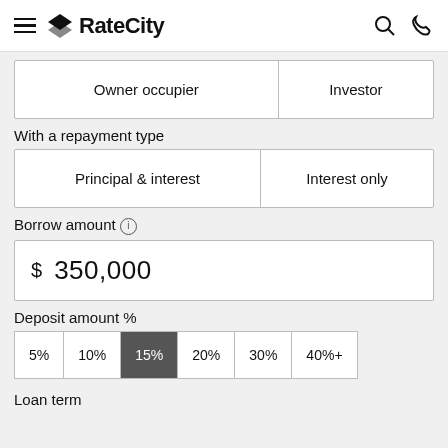RateCity
| Owner occupier | Investor |
With a repayment type
| Principal & interest | Interest only |
Borrow amount
| $ 350,000 |
Deposit amount %
| 5% | 10% | 15% | 20% | 30% | 40%+ |
Loan term